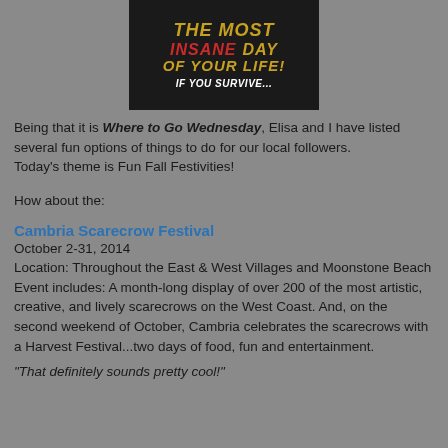[Figure (illustration): Black background promotional image with stylized text reading 'THE MOST INSANE DAY OF YOUR LIFE! IF YOU SURVIVE...' in yellow, red, and white bold italic lettering]
Being that it is Where to Go Wednesday, Elisa and I have listed several fun options of things to do for our local followers. Today's theme is Fun Fall Festivities!
How about the:
Cambria Scarecrow Festival
October 2-31, 2014
Location: Throughout the East & West Villages and Moonstone Beach
Event includes: A month-long display of over 200 of the most artistic, creative, and lively scarecrows on the West Coast. And, on the second weekend of October, Cambria celebrates the scarecrows with a Harvest Festival...two days of food, fun and entertainment.
"That definitely sounds pretty cool!"